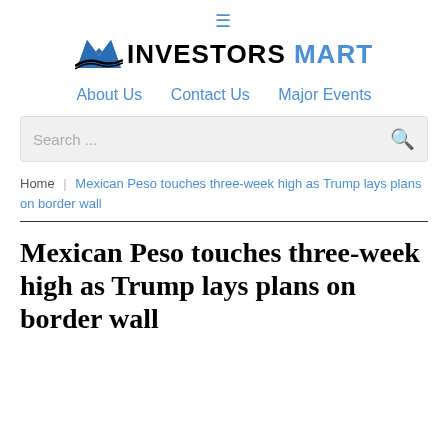≡ INVESTORS MART — About Us | Contact Us | Major Events
Search ...
Home | Mexican Peso touches three-week high as Trump lays plans on border wall
Mexican Peso touches three-week high as Trump lays plans on border wall